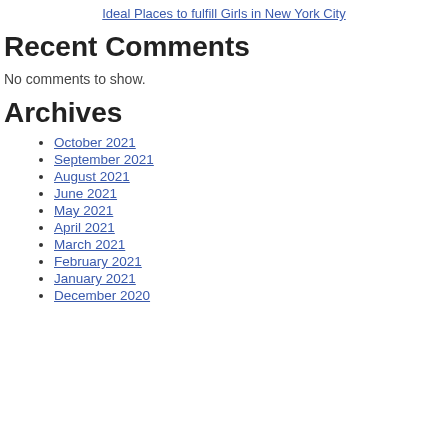Ideal Places to fulfill Girls in New York City
Recent Comments
No comments to show.
Archives
October 2021
September 2021
August 2021
June 2021
May 2021
April 2021
March 2021
February 2021
January 2021
December 2020